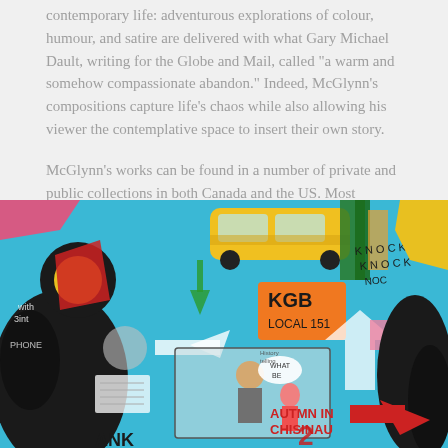contemporary life: adventurous explorations of colour, humour, and satire are delivered with what Gary Michael Dault, writing for the Globe and Mail, called "a warm and somehow compassionate abandon." Indeed, McGlynn's compositions capture life's chaos while also allowing his viewer the contemplative space to insert their own story.
McGlynn's works can be found in a number of private and public collections in both Canada and the US. Most recently, his work was acquired for the HBC Global Art Collection in New York.
View Casey McGlynn's CV
[Figure (illustration): A colourful, chaotic expressionist-style painting by Casey McGlynn featuring figures, birds, text elements including 'KGB LOCAL 151' and 'AUTMN IN CHISINAU', a yellow bus/car, arrows, and abstract shapes on a bright blue background.]